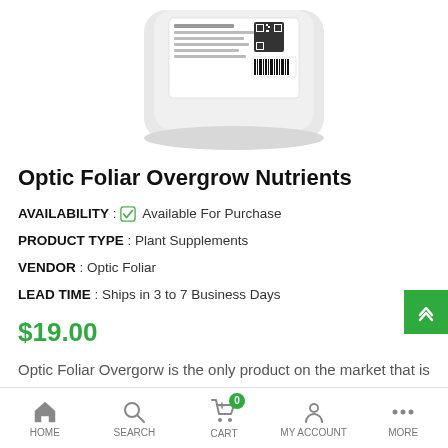[Figure (photo): Product image of Optic Foliar Overgrow Nutrients container (white jug) showing label with barcode, partially visible from below]
Optic Foliar Overgrow Nutrients
AVAILABILITY : ✓ Available For Purchase
PRODUCT TYPE : Plant Supplements
VENDOR : Optic Foliar
LEAD TIME : Ships in 3 to 7 Business Days
$19.00
Optic Foliar Overgorw is the only product on the market that is a dynamic, multi-purpose, ready-to-use spray that combines performance and growth
HOME  SEARCH  CART  MY ACCOUNT  MORE